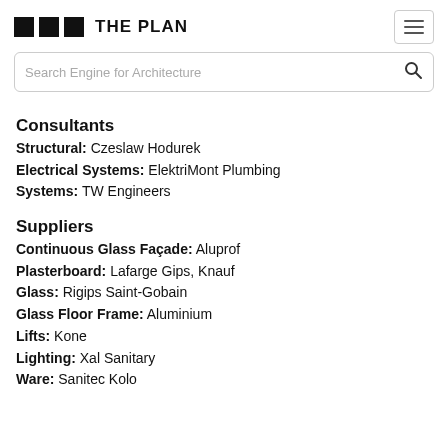THE PLAN
Search Engine for Architecture
Consultants
Structural: Czeslaw Hodurek
Electrical Systems: ElektriMont Plumbing
Systems: TW Engineers
Suppliers
Continuous Glass Façade: Aluprof
Plasterboard: Lafarge Gips, Knauf
Glass: Rigips Saint-Gobain
Glass Floor Frame: Aluminium
Lifts: Kone
Lighting: Xal Sanitary
Ware: Sanitec Kolo